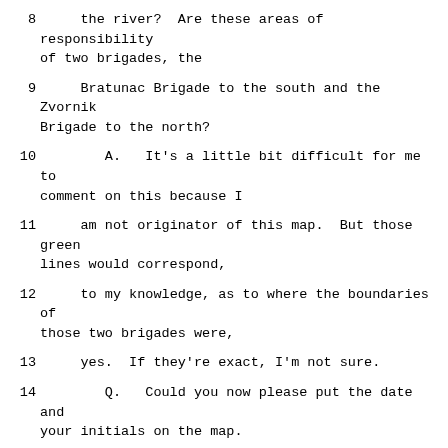8      the river?  Are these areas of responsibility of two brigades, the
9      Bratunac Brigade to the south and the Zvornik Brigade to the north?
10        A.   It's a little bit difficult for me to comment on this because I
11     am not originator of this map.  But those green lines would correspond,
12     to my knowledge, as to where the boundaries of those two brigades were,
13     yes.  If they're exact, I'm not sure.
14        Q.   Could you now please put the date and your initials on the map.